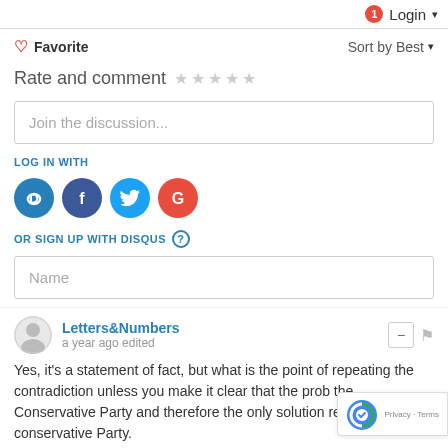1  Login ▾
♡ Favorite    Sort by Best ▾
Rate and comment ★ ★ ★ ★ ★
Join the discussion...
LOG IN WITH
[Figure (logo): Social login icons: Disqus (D), Facebook (f), Twitter bird, Google (G)]
OR SIGN UP WITH DISQUS ?
Name
Letters&Numbers
a year ago edited
Yes, it's a statement of fact, but what is the point of repeating the contradiction unless you make it clear that the prob the Conservative Party and therefore the only solution removal of the conservative Party.